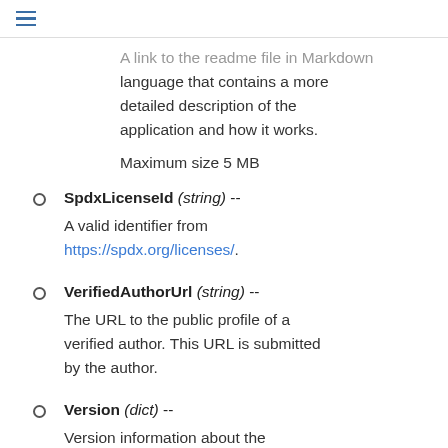≡
A link to the readme file in Markdown language that contains a more detailed description of the application and how it works.

Maximum size 5 MB
SpdxLicenseId (string) --
A valid identifier from https://spdx.org/licenses/.
VerifiedAuthorUrl (string) --
The URL to the public profile of a verified author. This URL is submitted by the author.
Version (dict) --
Version information about the application.